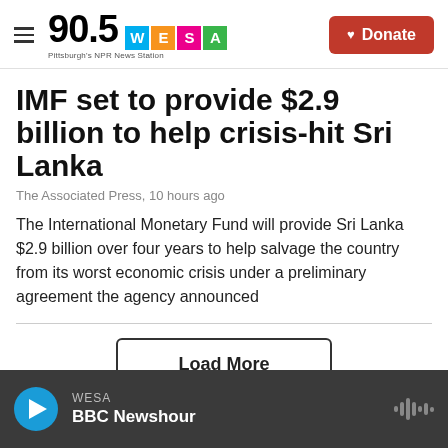90.5 WESA Pittsburgh's NPR News Station
IMF set to provide $2.9 billion to help crisis-hit Sri Lanka
The Associated Press, 10 hours ago
The International Monetary Fund will provide Sri Lanka $2.9 billion over four years to help salvage the country from its worst economic crisis under a preliminary agreement the agency announced
Load More
WESA BBC Newshour